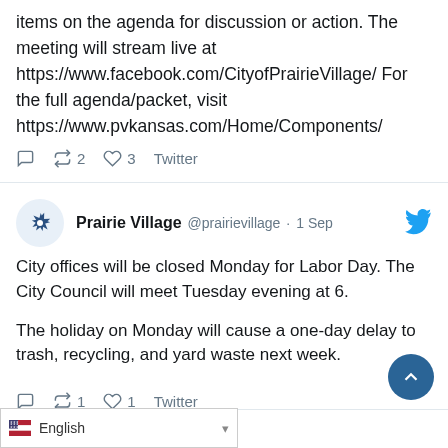items on the agenda for discussion or action. The meeting will stream live at https://www.facebook.com/CityofPrairieVillage/ For the full agenda/packet, visit https://www.pvkansas.com/Home/Components/
2 retweets, 3 likes, Twitter
Prairie Village @prairievillage · 1 Sep
City offices will be closed Monday for Labor Day. The City Council will meet Tuesday evening at 6.

The holiday on Monday will cause a one-day delay to trash, recycling, and yard waste next week.
1 retweet, 1 like, Twitter
English